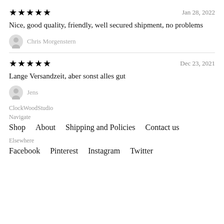★★★★★   Jan 28, 2022
Nice, good quality, friendly, well secured shipment, no problems
Chris Morgenstern
★★★★★   Dec 23, 2021
Lange Versandzeit, aber sonst alles gut
Jens
ClockWoodStudio
Navigate
Shop    About    Shipping and Policies    Contact us
Elsewhere
Facebook    Pinterest    Instagram    Twitter